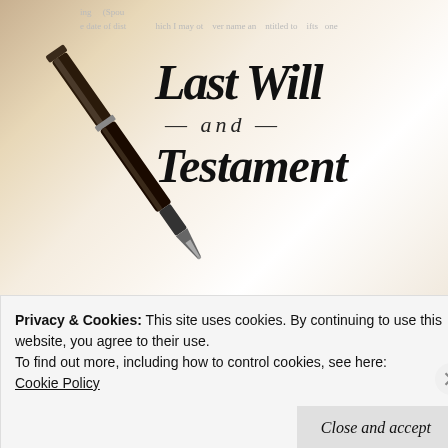[Figure (photo): Photo of a 'Last Will and Testament' document with a fountain pen resting on it, shot at an angle on a light beige/cream background. The document shows the title 'Last Will — and — Testament' in Old English blackletter font.]
Estate planning is a commonly misunderstood aspect of financial planning, with people asking me "Is it the planning of real estate?"
Privacy & Cookies: This site uses cookies. By continuing to use this website, you agree to their use.
To find out more, including how to control cookies, see here:
Cookie Policy